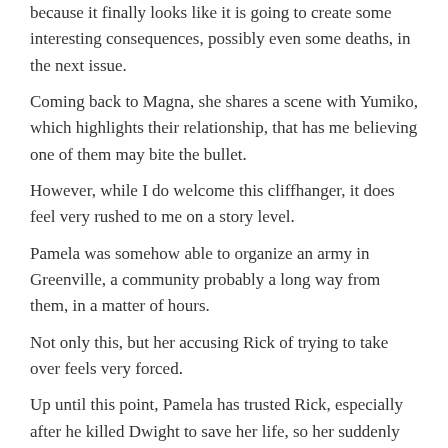because it finally looks like it is going to create some interesting consequences, possibly even some deaths, in the next issue.
Coming back to Magna, she shares a scene with Yumiko, which highlights their relationship, that has me believing one of them may bite the bullet.
However, while I do welcome this cliffhanger, it does feel very rushed to me on a story level.
Pamela was somehow able to organize an army in Greenville, a community probably a long way from them, in a matter of hours.
Not only this, but her accusing Rick of trying to take over feels very forced.
Up until this point, Pamela has trusted Rick, especially after he killed Dwight to save her life, so her suddenly thinking Rick wants to become leader of the...